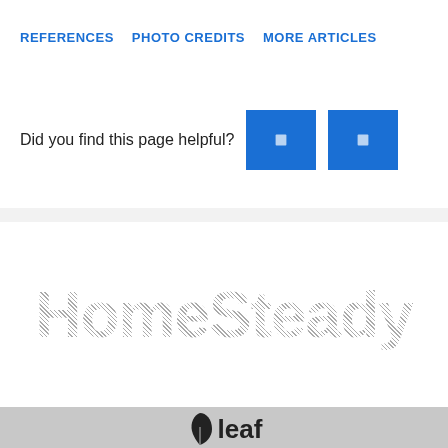REFERENCES   PHOTO CREDITS   MORE ARTICLES
Did you find this page helpful?
[Figure (logo): HomeSteady logo in hatched/crosshatch gray text style]
[Figure (logo): Leaf group logo with black leaf icon and 'leaf' text, on gray background]